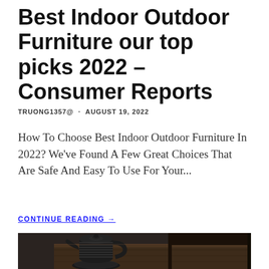Best Indoor Outdoor Furniture our top picks 2022 – Consumer Reports
TRUONG1357@  ·  AUGUST 19, 2022
How To Choose Best Indoor Outdoor Furniture In 2022? We've Found A Few Great Choices That Are Safe And Easy To Use For Your...
CONTINUE READING →
[Figure (photo): A dark ribbed cast-iron teapot on a trivet placed on a dark wooden surface/furniture piece, photographed in low key lighting.]